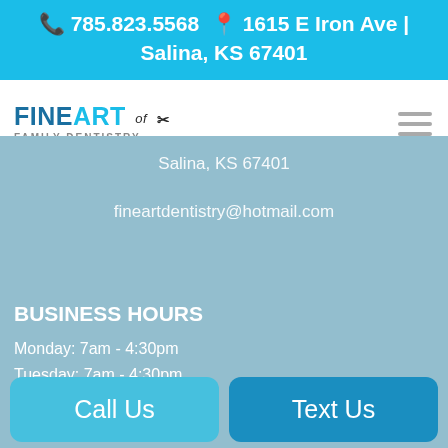📞 785.823.5568 📍 1615 E Iron Ave | Salina, KS 67401
[Figure (logo): Fine Art of Family Dentistry logo with scissors icon]
Salina, KS 67401
fineartdentistry@hotmail.com
BUSINESS HOURS
Monday: 7am - 4:30pm
Tuesday: 7am - 4:30pm
Wednesday: [partial]
Thursday: [partial]
Call Us
Text Us